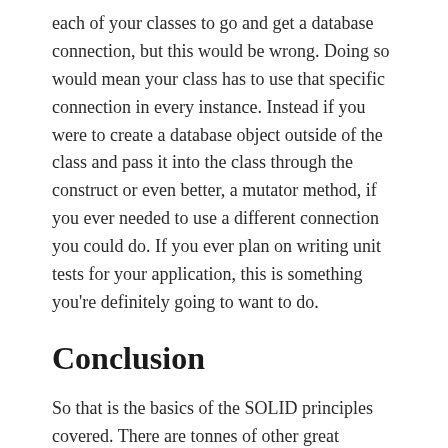each of your classes to go and get a database connection, but this would be wrong. Doing so would mean your class has to use that specific connection in every instance. Instead if you were to create a database object outside of the class and pass it into the class through the construct or even better, a mutator method, if you ever needed to use a different connection you could do. If you ever plan on writing unit tests for your application, this is something you're definitely going to want to do.
Conclusion
So that is the basics of the SOLID principles covered. There are tonnes of other great resources online for you to read. If you have any questions, I'll be happy to answer them.